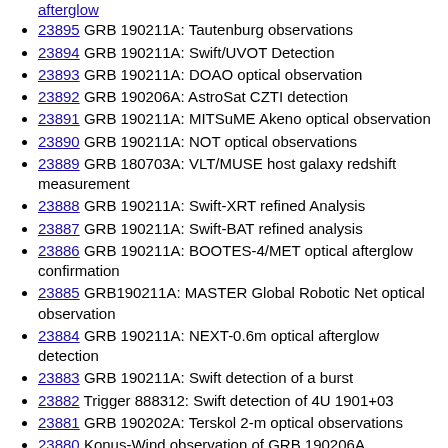afterglow
23895 GRB 190211A: Tautenburg observations
23894 GRB 190211A: Swift/UVOT Detection
23893 GRB 190211A: DOAO optical observation
23892 GRB 190206A: AstroSat CZTI detection
23891 GRB 190211A: MITSuME Akeno optical observation
23890 GRB 190211A: NOT optical observations
23889 GRB 180703A: VLT/MUSE host galaxy redshift measurement
23888 GRB 190211A: Swift-XRT refined Analysis
23887 GRB 190211A: Swift-BAT refined analysis
23886 GRB 190211A: BOOTES-4/MET optical afterglow confirmation
23885 GRB190211A: MASTER Global Robotic Net optical observation
23884 GRB 190211A: NEXT-0.6m optical afterglow detection
23883 GRB 190211A: Swift detection of a burst
23882 Trigger 888312: Swift detection of 4U 1901+03
23881 GRB 190202A: Terskol 2-m optical observations
23880 Konus-Wind observation of GRB 190206A
23879 IPN Triangulation of GRB 190206A (short/extremely bright)
23878 GRB 190203A: Mondy optical observations
23877 GRB 190204A: CALET Gamma-Ray Burst Monitor